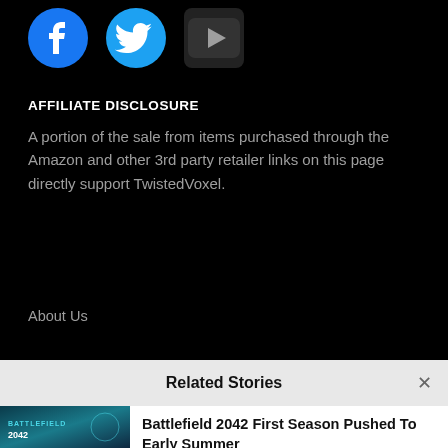[Figure (other): Social media icons: Facebook (blue circle with f), Twitter (blue bird), YouTube (dark play button)]
AFFILIATE DISCLOSURE
A portion of the sale from items purchased through the Amazon and other 3rd party retailer links on this page directly support TwistedVoxel.
About Us
Related Stories
[Figure (photo): Battlefield 2042 game cover art — soldier in teal/turquoise sci-fi environment with BATTLEFIELD 2042 text overlay]
Battlefield 2042 First Season Pushed To Early Summer